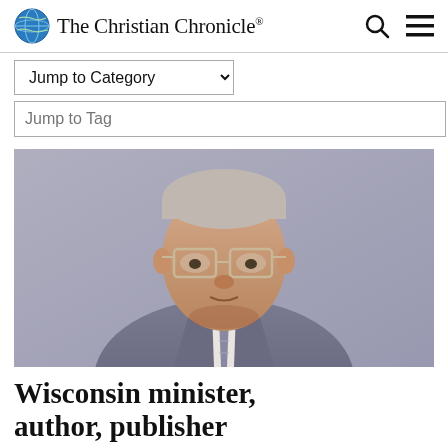The Christian Chronicle
Jump to Category
Jump to Tag
[Figure (photo): Portrait of an elderly man wearing glasses and a grey suit with a striped tie, against a muted purple-grey background.]
Wisconsin minister, author, publisher